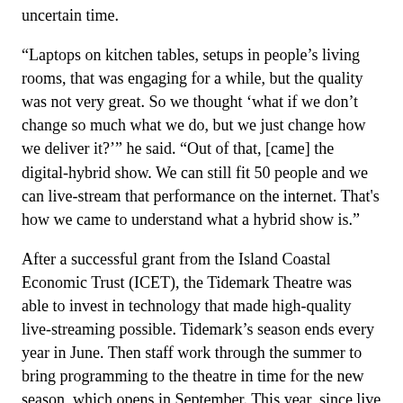uncertain time.
“Laptops on kitchen tables, setups in people’s living rooms, that was engaging for a while, but the quality was not very great. So we thought ‘what if we don’t change so much what we do, but we just change how we deliver it?’” he said. “Out of that, [came] the digital-hybrid show. We can still fit 50 people and we can live-stream that performance on the internet. That’s how we came to understand what a hybrid show is.”
After a successful grant from the Island Coastal Economic Trust (ICET), the Tidemark Theatre was able to invest in technology that made high-quality live-streaming possible. Tidemark’s season ends every year in June. Then staff work through the summer to bring programming to the theatre in time for the new season, which opens in September. This year, since live events shut down in March, the theatre had a hard time trying to find the money needed to keep going. Any grant applications would have a multi-month waiting period